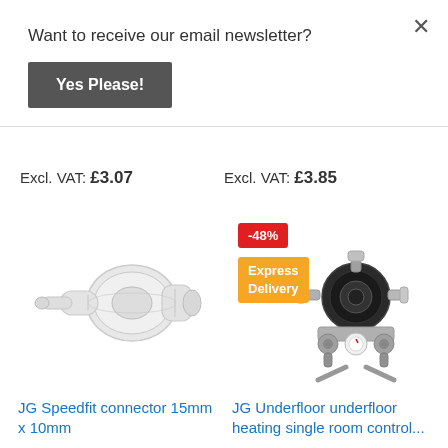Want to receive our email newsletter?
Yes Please!
Excl. VAT: £3.07
Excl. VAT: £3.85
[Figure (photo): White plastic push-fit pipe connector, JG Speedfit 15mm x 10mm reducer coupling]
[Figure (photo): Underfloor heating single room control unit with pump and valve assembly, with red -48% badge and orange Express Delivery badge]
JG Speedfit connector 15mm x 10mm
JG Underfloor underfloor heating single room control...